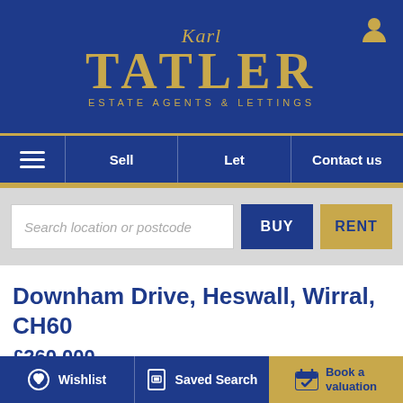[Figure (logo): Karl Tatler Estate Agents & Lettings logo — gold script 'Karl' above large gold serif 'TATLER', subtitle 'ESTATE AGENTS & LETTINGS', all on navy blue background]
Sell | Let | Contact us
Search location or postcode
BUY
RENT
Downham Drive, Heswall, Wirral, CH60
£260,000
0 Wishlist | Saved Search | Book a valuation